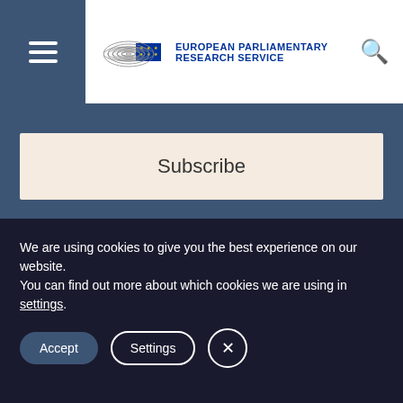European Parliamentary Research Service
Subscribe
TERMS AND CONDITIONS
The content of all documents (and articles) contained in this blog is the sole responsibility of the author and any opinions expressed therein do not necessarily represent the official position of the European Parliament. It is addressed to the Members and staff of the EP for their parliamentary work. Reproduction and translation for non-commercial
We are using cookies to give you the best experience on our website.
You can find out more about which cookies we are using in settings.
Accept
Settings